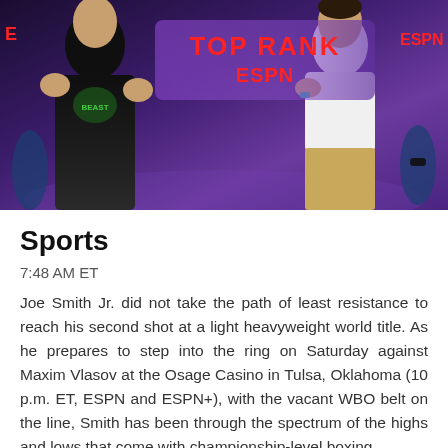[Figure (photo): Two boxers posing in fighting stances in front of a Top Rank and ESPN banner backdrop. The fighter on the left wears a black long-sleeve shirt, the fighter on the right wears a white polo shirt and tan pants.]
Sports
7:48 AM ET
Joe Smith Jr. did not take the path of least resistance to reach his second shot at a light heavyweight world title. As he prepares to step into the ring on Saturday against Maxim Vlasov at the Osage Casino in Tulsa, Oklahoma (10 p.m. ET, ESPN and ESPN+), with the vacant WBO belt on the line, Smith has been through the spectrum of the highs and lows that come with championship-level boxing.